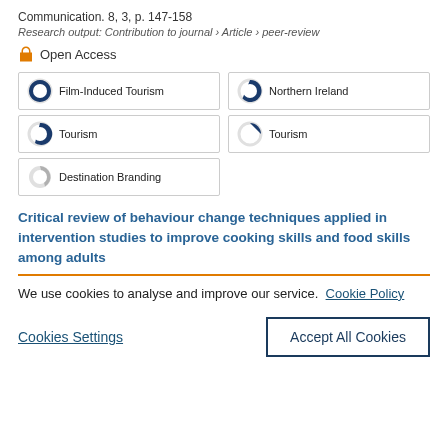Communication. 8, 3, p. 147-158
Research output: Contribution to journal › Article › peer-review
Open Access
Film-Induced Tourism
Northern Ireland
Tourism
Tourism
Destination Branding
Critical review of behaviour change techniques applied in intervention studies to improve cooking skills and food skills among adults
We use cookies to analyse and improve our service. Cookie Policy
Cookies Settings
Accept All Cookies